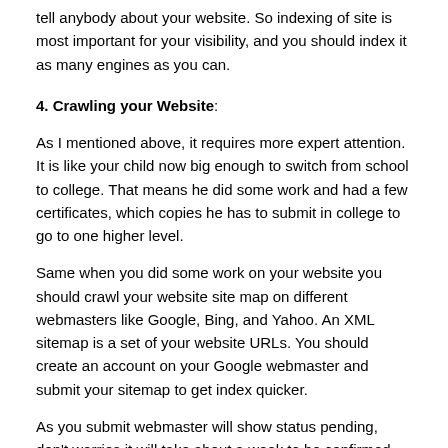tell anybody about your website. So indexing of site is most important for your visibility, and you should index it as many engines as you can.
4. Crawling your Website:
As I mentioned above, it requires more expert attention. It is like your child now big enough to switch from school to college. That means he did some work and had a few certificates, which copies he has to submit in college to go to one higher level.
Same when you did some work on your website you should crawl your website site map on different webmasters like Google, Bing, and Yahoo. An XML sitemap is a set of your website URLs. You should create an account on your Google webmaster and submit your sitemap to get index quicker.
As you submit webmaster will show status pending, don't worries it will take about a week to be confirmed. After it when you will update your site, search engines will be updated automatically, no need to submit and crawl every time.